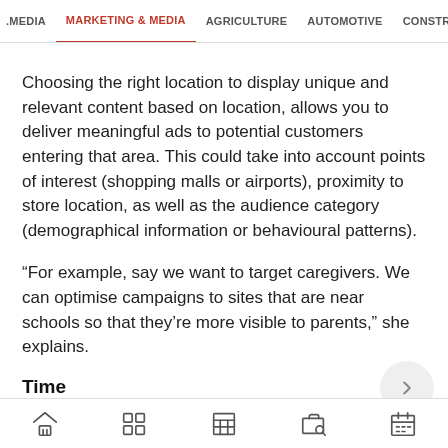MEDIA   MARKETING & MEDIA   AGRICULTURE   AUTOMOTIVE   CONSTRU
Choosing the right location to display unique and relevant content based on location, allows you to deliver meaningful ads to potential customers entering that area. This could take into account points of interest (shopping malls or airports), proximity to store location, as well as the audience category (demographical information or behavioural patterns).
“For example, say we want to target caregivers. We can optimise campaigns to sites that are near schools so that they’re more visible to parents,” she explains.
Time
Displaying a brand message at the right time allows you